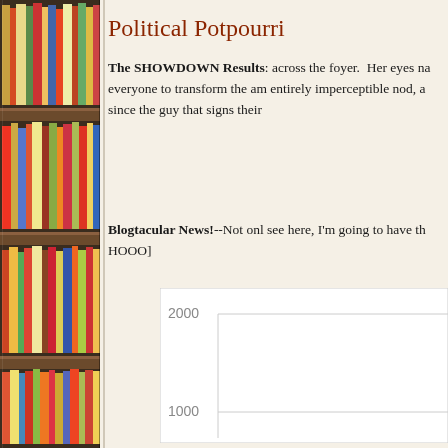[Figure (photo): Tall bookshelf filled with colorful books of various colors and sizes, photographed from the side]
Political Potpourri
The SHOWDOWN Results: across the foyer.  Her eyes na everyone to transform the am entirely imperceptible nod, a since the guy that signs their
Blogtacular News!--Not onl see here, I'm going to have th HOOO]
[Figure (bar-chart): Partial bar chart visible at bottom right, showing y-axis labels 1000 and 2000]